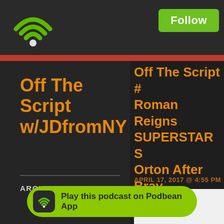[Figure (logo): Green WiFi signal icon with dot, podcast app logo]
Follow
Off The Script w/JDfromNY
ARCHIVES
Off The Script # Roman Reigns SUPERSTAR S Orton After Bray Silence Mauro R
APRIL 17, 2017 @ 4:55 PM
[Figure (photo): Article thumbnail image, white/light colored]
Reason Why Roman Reig RAW, Plans For The New What Does A House Of H by Wyatt, Who Reportedly Shakeup Decisi
[Figure (logo): Play this podcast on Podbean App button with green background and wifi icon]